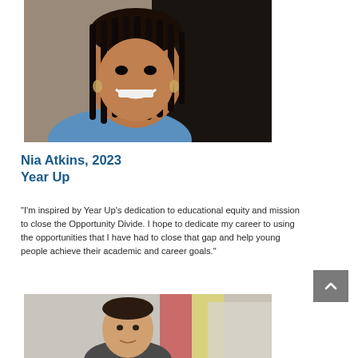[Figure (photo): Portrait photo of Nia Atkins, a young woman with braids wearing a blue top, smiling at the camera]
Nia Atkins, 2023
Year Up
"I'm inspired by Year Up's dedication to educational equity and mission to close the Opportunity Divide. I hope to dedicate my career to using the opportunities that I have had to close that gap and help young people achieve their academic and career goals."
[Figure (photo): Portrait photo of a young man with short dark hair, standing outdoors with flags and buildings in the background]